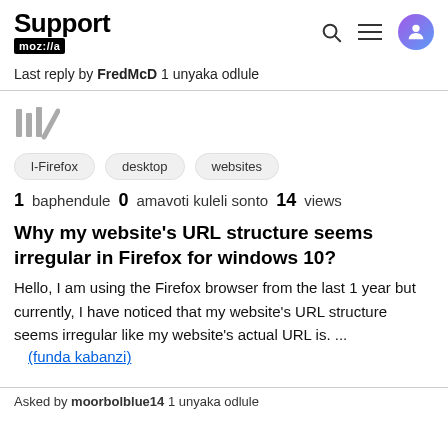Support moz://a
Last reply by FredMcD 1 unyaka odlule
[Figure (illustration): Library/bookmark icon in gray]
l-Firefox
desktop
websites
1 baphendule  0 amavoti kuleli sonto  14 views
Why my website's URL structure seems irregular in Firefox for windows 10?
Hello, I am using the Firefox browser from the last 1 year but currently, I have noticed that my website's URL structure seems irregular like my website's actual URL is. ...
(funda kabanzi)
Asked by moorbolblue14 1 unyaka odlule